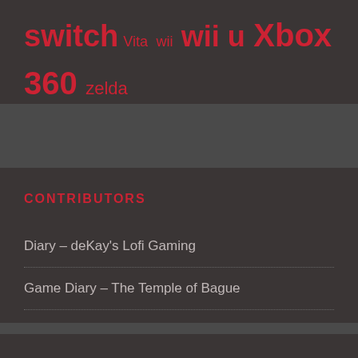switch Vita wii wii u Xbox 360 zelda
CONTRIBUTORS
Diary – deKay's Lofi Gaming
Game Diary – The Temple of Bague
gospvg
Lufferov's Gaming Diary
Tim's Gaming Diary